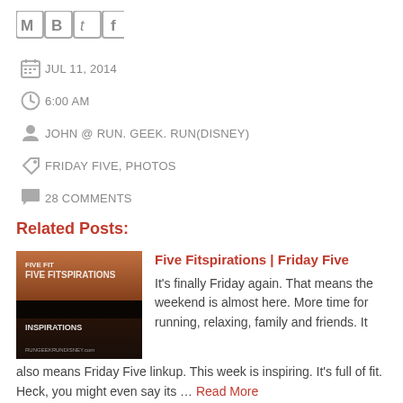[Figure (logo): Social sharing icons: Gmail (M), Blogger (B), Twitter (t), Facebook (f)]
JUL 11, 2014
6:00 AM
JOHN @ RUN. GEEK. RUN(DISNEY)
FRIDAY FIVE, PHOTOS
28 COMMENTS
Related Posts:
[Figure (photo): Thumbnail image for 'Five Fitspirations | Friday Five' showing a lake at dusk with text overlay]
Five Fitspirations | Friday Five
It's finally Friday again. That means the weekend is almost here. More time for running, relaxing, family and friends. It also means Friday Five linkup. This week is inspiring. It's full of fit. Heck, you might even say its … Read More